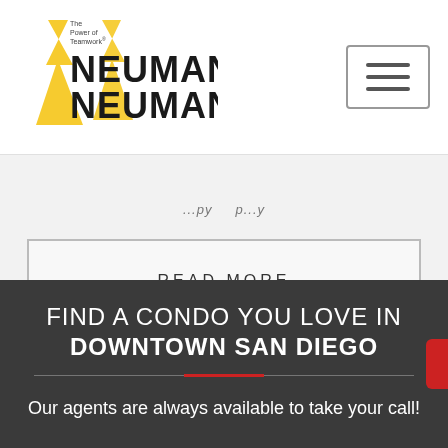[Figure (logo): Neuman Neuman & logo with lightning bolt graphic and 'The Power of Teamwork' tagline]
...py ... p...y
READ MORE
FIND A CONDO YOU LOVE IN DOWNTOWN SAN DIEGO
Our agents are always available to take your call!